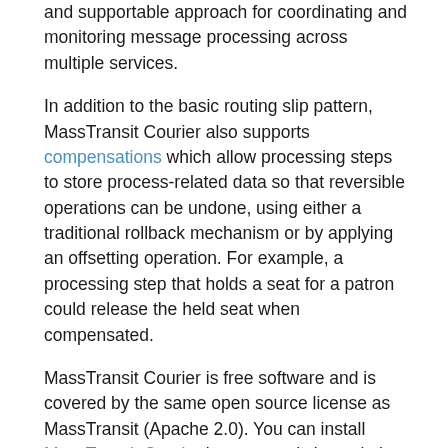and supportable approach for coordinating and monitoring message processing across multiple services.
In addition to the basic routing slip pattern, MassTransit Courier also supports compensations which allow processing steps to store process-related data so that reversible operations can be undone, using either a traditional rollback mechanism or by applying an offsetting operation. For example, a processing step that holds a seat for a patron could release the held seat when compensated.
MassTransit Courier is free software and is covered by the same open source license as MassTransit (Apache 2.0). You can install MassTransit.Courier into your existing solution using NuGet.
Activities